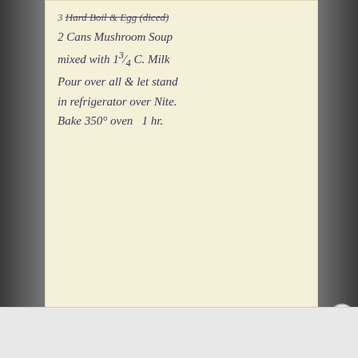[Figure (photo): Photo of a handwritten recipe card on yellowed paper, placed against a dark textured background. The card contains handwritten cursive text with a recipe including ingredients and instructions.]
3 [Hard Boil & Egg (diced)] [strikethrough]
2 Cans Mushroom Soup
mixed with 1 3/4 C. Milk
Pour over all & let stand
in refrigerator over Nite.
Bake 350° oven 1 hr.
Advertisements
[Figure (screenshot): DuckDuckGo advertisement banner: 'Search, browse, and email with more privacy. All in One Free App' with DuckDuckGo logo on dark background.]